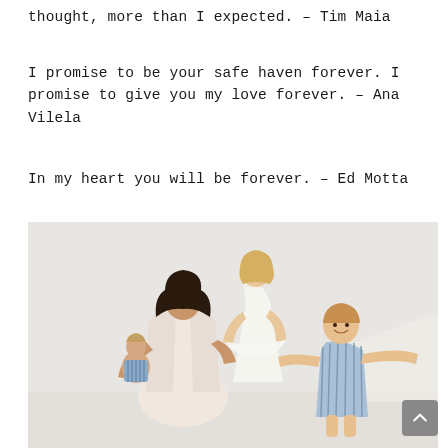thought, more than I expected. – Tim Maia
I promise to be your safe haven forever. I promise to give you my love forever. – Ana Vilela
In my heart you will be forever. – Ed Motta
[Figure (photo): A woman with dark hair kneeling and holding a small toddler dressed in blue striped outfit. A young girl in a white dress stands behind, and a smiling toddler with arms outstretched stands in front. Light grey background.]